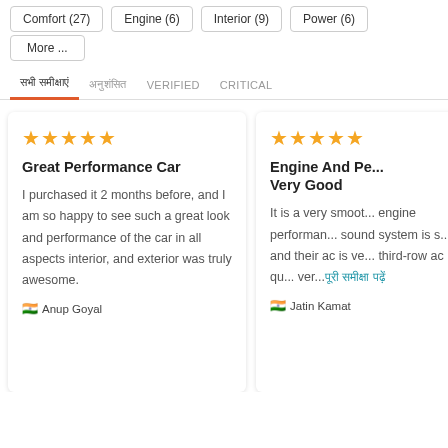Comfort (27)
Engine (6)
Interior (9)
Power (6)
More ...
सभी समीक्षाएं   अनुशंसित   VERIFIED   CRITICAL
Great Performance Car
I purchased it 2 months before, and I am so happy to see such a great look and performance of the car in all aspects interior, and exterior was truly awesome.
🇮🇳 Anup Goyal
Engine And Pe... Very Good
It is a very smoot... engine performan... sound system is s... and their ac is ve... third-row ac is qu... ver...
🇮🇳 Jatin Kamat